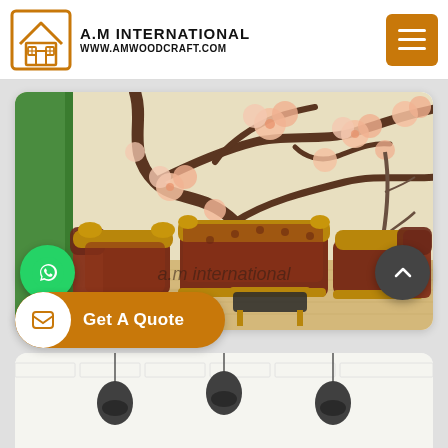A.M INTERNATIONAL
www.amwoodcraft.com
[Figure (photo): Interior room photo showing ornate brown leather sofa set with gold carved frames arranged in front of a wall with cherry blossom tree mural. A decorative bare branch plant and green potted plant on the right. Wooden floor. Watermark reads 'a.m international'.]
[Figure (photo): Partially visible second product image showing pendant lights over a white brick wall background.]
Get A Quote